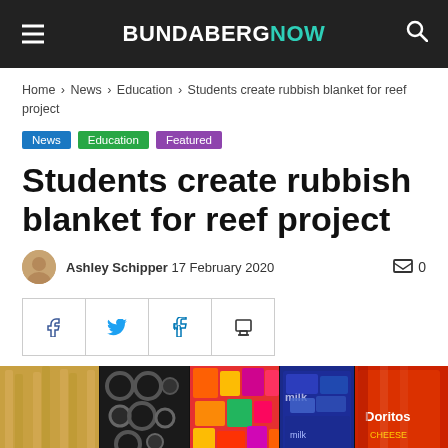BUNDABERG NOW
Home › News › Education › Students create rubbish blanket for reef project
News  Education  Featured
Students create rubbish blanket for reef project
Ashley Schipper  17 February 2020   0
[Figure (photo): Collected rubbish items sorted into categories — cigarette butts, black rubber pieces, colorful plastic candy wrappers, blue plastic items, and snack packets including Doritos — laid out on a dark surface.]